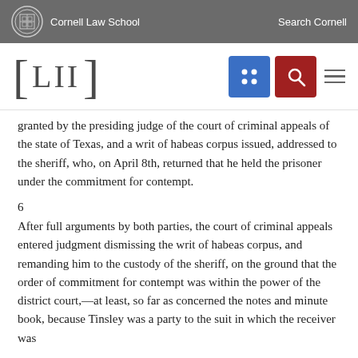Cornell Law School | Search Cornell
[Figure (logo): LII Legal Information Institute logo with navigation icons (grid icon in blue, search icon in red, hamburger menu)]
granted by the presiding judge of the court of criminal appeals of the state of Texas, and a writ of habeas corpus issued, addressed to the sheriff, who, on April 8th, returned that he held the prisoner under the commitment for contempt.
6
After full arguments by both parties, the court of criminal appeals entered judgment dismissing the writ of habeas corpus, and remanding him to the custody of the sheriff, on the ground that the order of commitment for contempt was within the power of the district court,—at least, so far as concerned the notes and minute book, because Tinsley was a party to the suit in which the receiver was